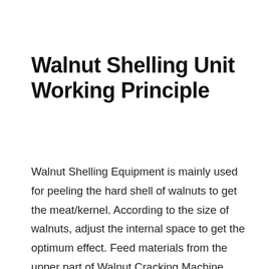Walnut Shelling Unit Working Principle
Walnut Shelling Equipment is mainly used for peeling the hard shell of walnuts to get the meat/kernel. According to the size of walnuts, adjust the internal space to get the optimum effect. Feed materials from the upper part of Walnut Cracking Machine, after cracking the shells, then Walnut Nuts & Shells Separator machine separate kernels from shells. So